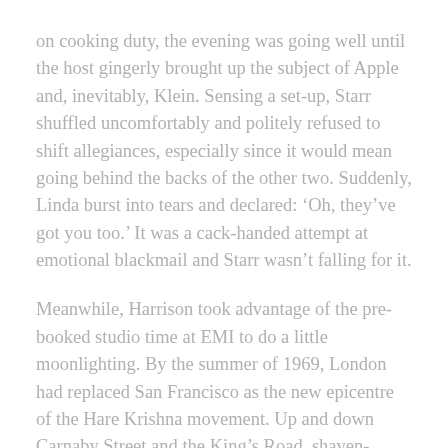on cooking duty, the evening was going well until the host gingerly brought up the subject of Apple and, inevitably, Klein. Sensing a set-up, Starr shuffled uncomfortably and politely refused to shift allegiances, especially since it would mean going behind the backs of the other two. Suddenly, Linda burst into tears and declared: ‘Oh, they’ve got you too.’ It was a cack-handed attempt at emotional blackmail and Starr wasn’t falling for it.
Meanwhile, Harrison took advantage of the pre-booked studio time at EMI to do a little moonlighting. By the summer of 1969, London had replaced San Francisco as the new epicentre of the Hare Krishna movement. Up and down Carnaby Street and the King’s Road, shaven-headed Krishna devotees, draped in orange robes and carrying their prayer beads in a bag,